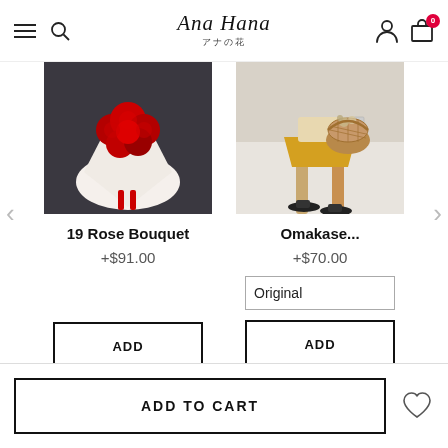Ana Hana アナの花
[Figure (photo): Red rose bouquet held by a person against a dark background]
19 Rose Bouquet
+$91.00
ADD
[Figure (photo): Person holding a wicker basket with dried flowers, wearing a yellow skirt and black sandals]
Omakase...
+$70.00
Original
ADD
ADD TO CART